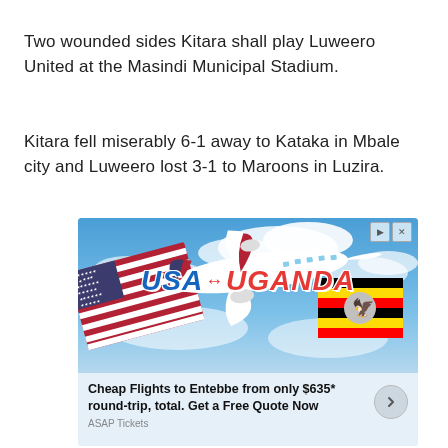Two wounded sides Kitara shall play Luweero United at the Masindi Municipal Stadium.
Kitara fell miserably 6-1 away to Kataka in Mbale city and Luweero lost 3-1 to Maroons in Luzira.
[Figure (photo): Advertisement banner showing an airplane flying over clouds with USA and Uganda flags, promoting cheap flights to Entebbe. Text reads: USA ↔ UGANDA. Cheap Flights to Entebbe from only $635* round-trip, total. Get a Free Quote Now. ASAP Tickets.]